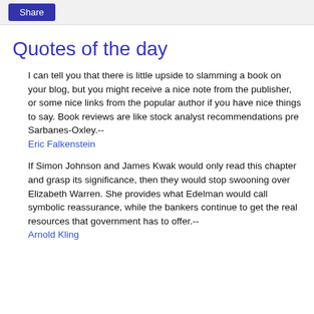Share
Quotes of the day
I can tell you that there is little upside to slamming a book on your blog, but you might receive a nice note from the publisher, or some nice links from the popular author if you have nice things to say. Book reviews are like stock analyst recommendations pre Sarbanes-Oxley.-- Eric Falkenstein
If Simon Johnson and James Kwak would only read this chapter and grasp its significance, then they would stop swooning over Elizabeth Warren. She provides what Edelman would call symbolic reassurance, while the bankers continue to get the real resources that government has to offer.-- Arnold Kling